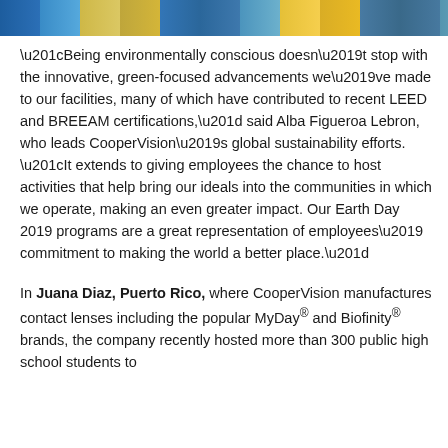[Figure (photo): A horizontal photo strip showing people outdoors, with blue and yellow colors visible, cropped at the top of the page]
“Being environmentally conscious doesn’t stop with the innovative, green-focused advancements we’ve made to our facilities, many of which have contributed to recent LEED and BREEAM certifications,” said Alba Figueroa Lebron, who leads CooperVision’s global sustainability efforts. “It extends to giving employees the chance to host activities that help bring our ideals into the communities in which we operate, making an even greater impact. Our Earth Day 2019 programs are a great representation of employees’ commitment to making the world a better place.”
In Juana Diaz, Puerto Rico, where CooperVision manufactures contact lenses including the popular MyDay® and Biofinity® brands, the company recently hosted more than 300 public high school students to